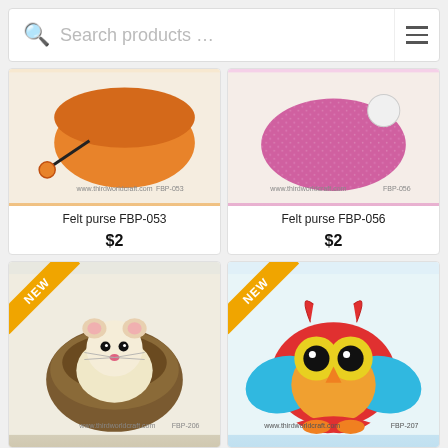Search products …
[Figure (photo): Felt purse FBP-053 product image showing an orange felt purse with black strap and orange bead]
Felt purse FBP-053
$2
[Figure (photo): Felt purse FBP-056 product image showing a pink/magenta sparkly felt purse]
Felt purse FBP-056
$2
[Figure (photo): NEW felt toy FBP-206 showing a cute mouse or hamster peeking out of a walnut shell, felted wool]
[Figure (photo): NEW felt toy FBP-207 showing a colorful felt owl with red, yellow, teal, and orange colors]